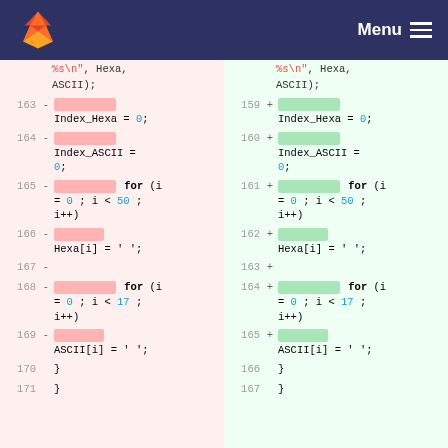GitLab header with logo and Menu
[Figure (screenshot): Code diff view showing two columns (left: deleted lines 163-171 in red, right: added lines 159-167 in green) with C code snippets including Index_Hexa, Index_ASCII assignments and for loops]
Left side (deleted, lines 163-171):
163 - [highlight] Index_Hexa = 0;
164 - [highlight] Index_ASCII = 0;
165 - [highlight] for (i = 0 ; i < 50 ; i++)
166 - [highlight] Hexa[i] = ' ';
167 -
168 - [highlight] for (i = 0 ; i < 17 ; i++)
169 - [highlight] ASCII[i] = ' ';
170           }
171           }
Right side (added, lines 159-167):
159 + [highlight] Index_Hexa = 0;
160 + [highlight] Index_ASCII = 0;
161 + [highlight] for (i = 0 ; i < 50 ; i++)
162 + [highlight] Hexa[i] = ' ';
163 +
164 + [highlight] for (i = 0 ; i < 17 ; i++)
165 + [highlight] ASCII[i] = ' ';
166           }
167           }